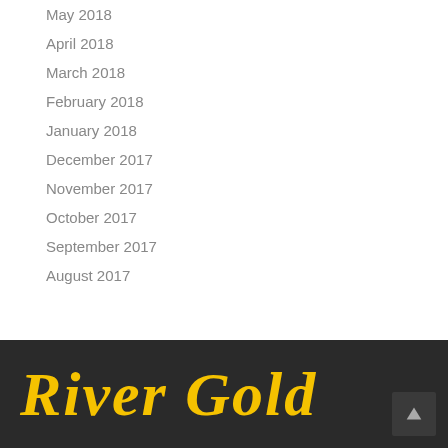May 2018
April 2018
March 2018
February 2018
January 2018
December 2017
November 2017
October 2017
September 2017
August 2017
River Gold